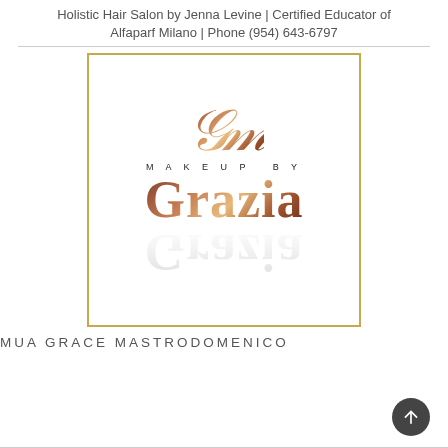Holistic Hair Salon by Jenna Levine | Certified Educator of Alfaparf Milano | Phone (954) 643-6797
[Figure (logo): Makeup by Grazia logo with stylized GM monogram in rose-gold gradient, 'MAKEUP BY' in small caps, 'Grazia' in large serif font with gradient, and a mirror reflection below, inside a gold-bordered white square]
MUA GRACE MASTRODOMENICO